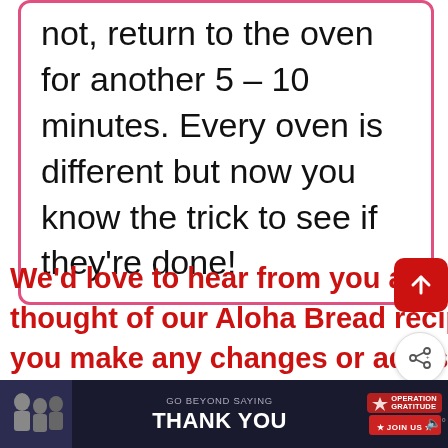not, return to the oven for another 5 – 10 minutes. Every oven is different but now you know the trick to see if they're done!
We'd love to hear from you and what you thought of our Aloha Bread recipe. Did you make any changes or add some other goodies? Let us know in the comments below. Thanks for reading and happy cooking!
[Figure (screenshot): WHAT'S NEXT arrow label with Lemon and Garlic Butter... thumbnail link]
[Figure (infographic): Advertisement banner: Go Beyond Saying Thank You - Operation Gratitude - Join Us]